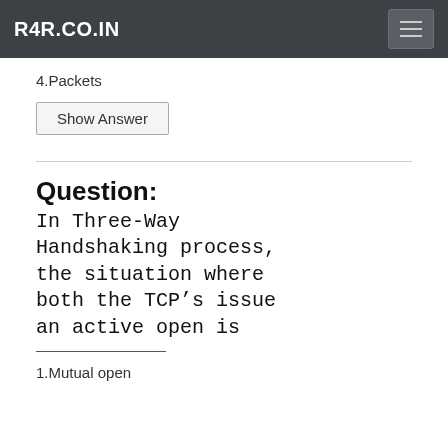R4R.CO.IN
4.Packets
Show Answer
Question:
In Three-Way Handshaking process, the situation where both the TCP’s issue an active open is
1.Mutual open